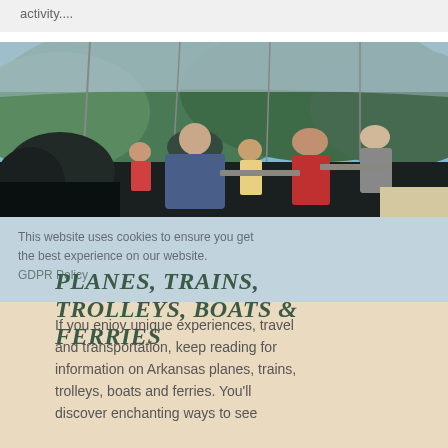activity....
[Figure (photo): Interior of a train observation/dome car with passengers seated at tables, looking out at green hills and blue sky through large panoramic glass windows]
PLANES, TRAINS, TROLLEYS, BOATS & FERRIES
This website uses cookies to ensure you get the best experience on our website. GDPR Policy
If you enjoy unique experiences, travel and transportation, keep reading for information on Arkansas planes, trains, trolleys, boats and ferries. You'll discover enchanting ways to see